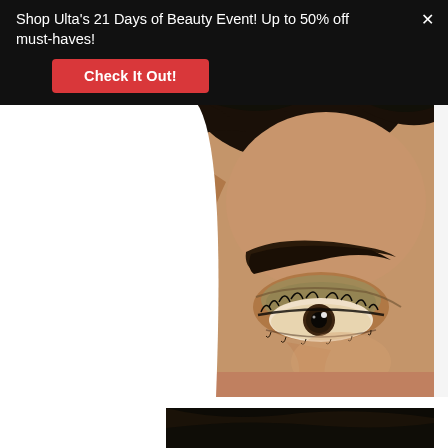Shop Ulta's 21 Days of Beauty Event! Up to 50% off must-haves!
[Figure (photo): Close-up portrait of a woman with dark skin, showing her eye, eyebrow, and forehead. She is wearing eyeshadow and mascara. The photo is cropped to show primarily the upper half of the face.]
[Figure (photo): Partial view of another portrait — dark hair visible at the bottom of the page, second model photo cropped.]